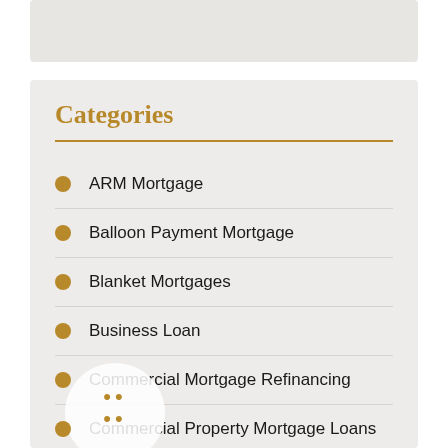Categories
ARM Mortgage
Balloon Payment Mortgage
Blanket Mortgages
Business Loan
Commercial Mortgage Refinancing
Commercial Property Mortgage Loans